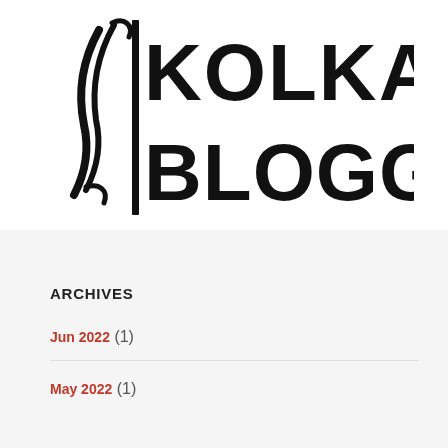[Figure (logo): Kolkata Bloggers logo — stylized figure on the left with bold text reading KOLKATA on top and BLOGGERS below, all in black]
ARCHIVES
Jun 2022 (1)
May 2022 (1)